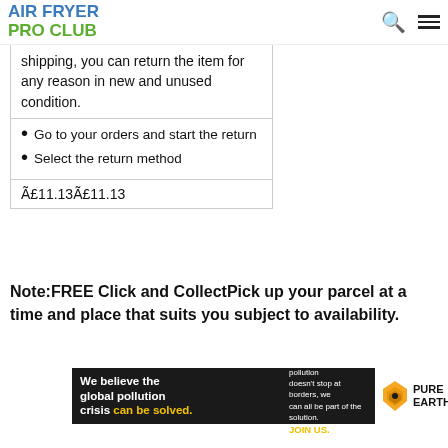AIR FRYER PRO CLUB
shipping, you can return the item for any reason in new and unused condition.
Go to your orders and start the return
Select the return method
| £11.13£11.13 |
Note:FREE Click and CollectPick up your parcel at a time and place that suits you subject to availability.
[Figure (infographic): Pure Earth ad banner: 'We believe the global pollution crisis can be solved.' with Pure Earth logo.]